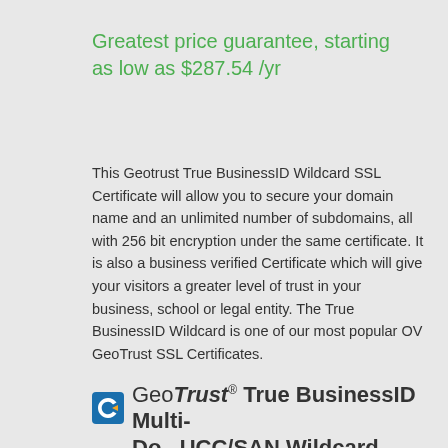Greatest price guarantee, starting as low as $287.54 /yr
This Geotrust True BusinessID Wildcard SSL Certificate will allow you to secure your domain name and an unlimited number of subdomains, all with 256 bit encryption under the same certificate. It is also a business verified Certificate which will give your visitors a greater level of trust in your business, school or legal entity. The True BusinessID Wildcard is one of our most popular OV GeoTrust SSL Certificates.
[Figure (other): Blue 'More Info' button]
[Figure (logo): GeoTrust logo icon (blue circular arrow) followed by text: GeoTrust True BusinessID Multi- (line cut off)]